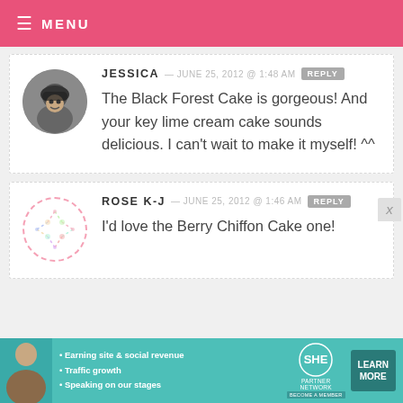MENU
JESSICA — JUNE 25, 2012 @ 1:48 AM  REPLY
The Black Forest Cake is gorgeous! And your key lime cream cake sounds delicious. I can't wait to make it myself! ^^
ROSE K-J — JUNE 25, 2012 @ 1:46 AM  REPLY
I'd love the Berry Chiffon Cake one!
[Figure (infographic): SHE Partner Network ad banner: Earning site & social revenue, Traffic growth, Speaking on our stages, LEARN MORE button]